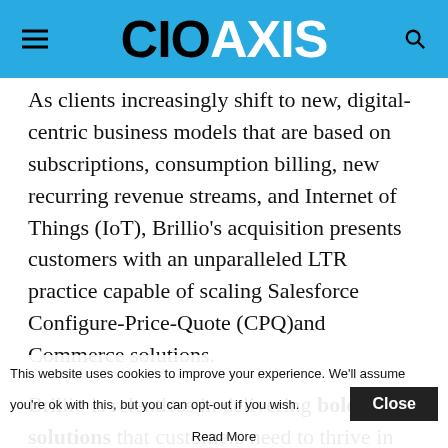CIO AXIS
As clients increasingly shift to new, digital-centric business models that are based on subscriptions, consumption billing, new recurring revenue streams, and Internet of Things (IoT), Brillio’s acquisition presents customers with an unparalleled LTR practice capable of scaling Salesforce Configure-Price-Quote (CPQ)and Commerce solutions.
Brillio is relentless in delivering bold solutions that customers need to thrive in the digital economy across its tech, media and
This website uses cookies to improve your experience. We’ll assume you’re ok with this, but you can opt-out if you wish. Close
Read More